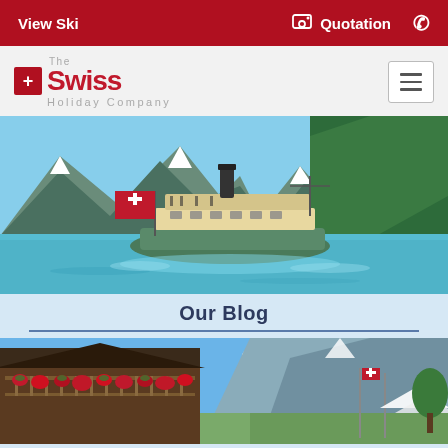View Ski | Quotation | (phone)
[Figure (logo): The Swiss Holiday Company logo with red cross icon and red Swiss text]
[Figure (photo): A paddle steamer boat with a Swiss flag on a turquoise alpine lake, surrounded by mountains and forest]
Our Blog
[Figure (photo): A Swiss chalet decorated with red flowers with alpine scenery and mountains in background]